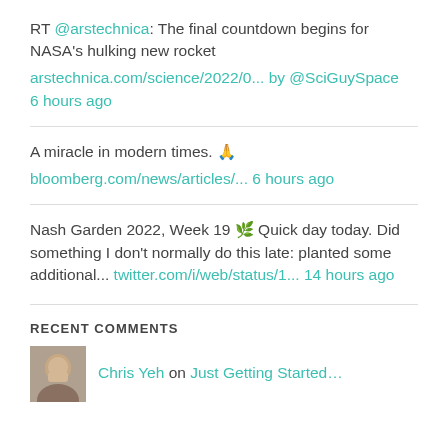RT @arstechnica: The final countdown begins for NASA's hulking new rocket
arstechnica.com/science/2022/0... by @SciGuySpace
6 hours ago
A miracle in modern times. 🙏
bloomberg.com/news/articles/... 6 hours ago
Nash Garden 2022, Week 19 🌿 Quick day today. Did something I don't normally do this late: planted some additional... twitter.com/i/web/status/1... 14 hours ago
RECENT COMMENTS
Chris Yeh on Just Getting Started...